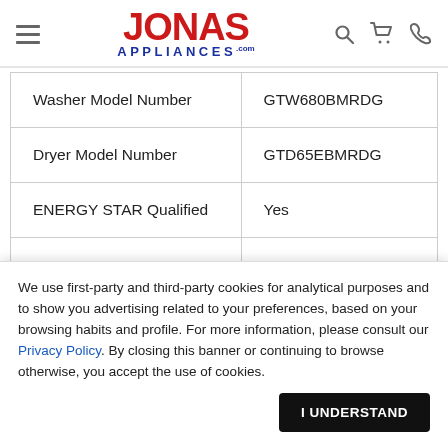[Figure (logo): Jonas Appliances logo with red 'JONAS' text and blue 'APPLIANCES' text below, with hamburger menu icon on left and search, cart, phone icons on right]
| Washer Model Number | GTW680BMRDG |
| Dryer Model Number | GTD65EBMRDG |
| ENERGY STAR Qualified | Yes |
|  |  |
We use first-party and third-party cookies for analytical purposes and to show you advertising related to your preferences, based on your browsing habits and profile. For more information, please consult our Privacy Policy. By closing this banner or continuing to browse otherwise, you accept the use of cookies.
I UNDERSTAND